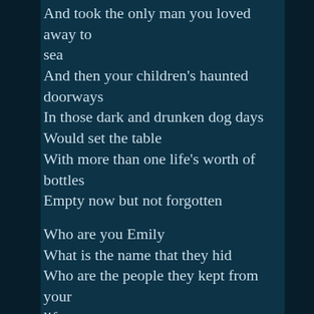And took the only man you loved away to sea
And then your children's haunted doorways
In those dark and drunken dog days
Would set the table
With more than one life's worth of bottles
Empty now but not forgotten

Who are you Emily
What is the name that they hid
Who are the people they kept from your life
And where's your family
Among the dead and wasted
The hated and raped and tossed aside?